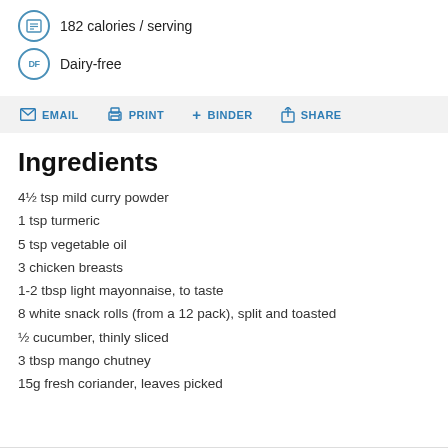182 calories / serving
Dairy-free
EMAIL  PRINT  + BINDER  SHARE
Ingredients
4½ tsp mild curry powder
1 tsp turmeric
5 tsp vegetable oil
3 chicken breasts
1-2 tbsp light mayonnaise, to taste
8 white snack rolls (from a 12 pack), split and toasted
½ cucumber, thinly sliced
3 tbsp mango chutney
15g fresh coriander, leaves picked